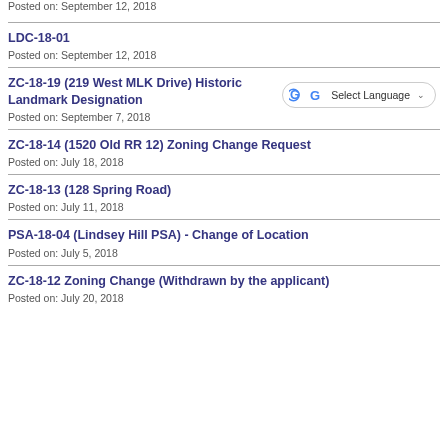Posted on: September 12, 2018
LDC-18-01
Posted on: September 12, 2018
ZC-18-19 (219 West MLK Drive) Historic Landmark Designation
Posted on: September 7, 2018
ZC-18-14 (1520 Old RR 12) Zoning Change Request
Posted on: July 18, 2018
ZC-18-13 (128 Spring Road)
Posted on: July 11, 2018
PSA-18-04 (Lindsey Hill PSA) - Change of Location
Posted on: July 5, 2018
ZC-18-12 Zoning Change (Withdrawn by the applicant)
Posted on: July 20, 2018